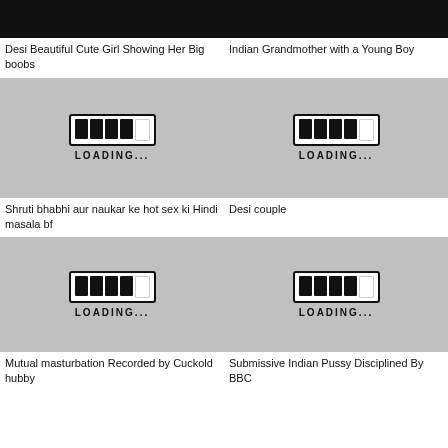[Figure (photo): Thumbnail image - dark/black top portion visible]
Desi Beautiful Cute Girl Showing Her Big boobs
[Figure (photo): Thumbnail image - dark/black top portion visible]
Indian Grandmother with a Young Boy
[Figure (other): Loading placeholder with progress bar icon and LOADING... text]
Shruti bhabhi aur naukar ke hot sex ki Hindi masala bf
[Figure (other): Loading placeholder with progress bar icon and LOADING... text]
Desi couple
[Figure (other): Loading placeholder with progress bar icon and LOADING... text]
Mutual masturbation Recorded by Cuckold hubby
[Figure (other): Loading placeholder with progress bar icon and LOADING... text]
Submissive Indian Pussy Disciplined By BBC